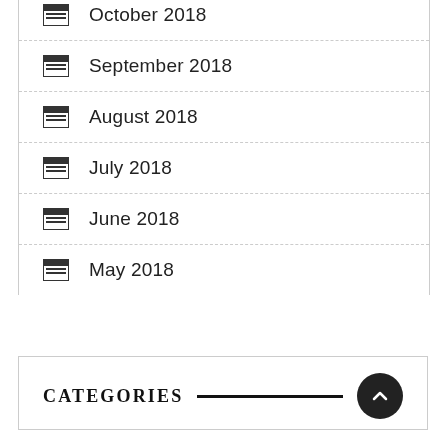October 2018
September 2018
August 2018
July 2018
June 2018
May 2018
CATEGORIES